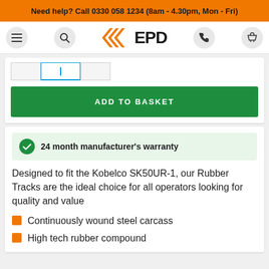Need help? Call 0330 058 1234 (8am - 4.30pm, Mon - Fri)
[Figure (logo): EPD logo with orange triangular chevron and EPD text, flanked by menu, search, phone, and basket icons]
[Figure (screenshot): Product image tab strip partially visible]
ADD TO BASKET
24 month manufacturer's warranty
Designed to fit the Kobelco SK50UR-1, our Rubber Tracks are the ideal choice for all operators looking for quality and value
Continuously wound steel carcass
High tech rubber compound